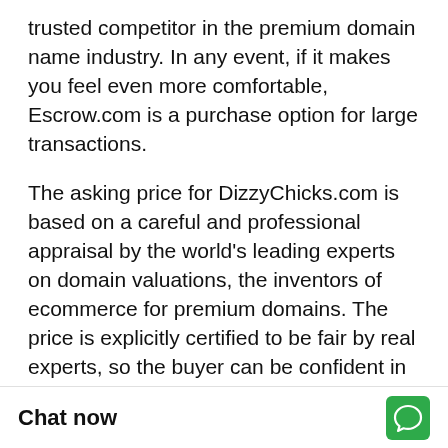trusted competitor in the premium domain name industry. In any event, if it makes you feel even more comfortable, Escrow.com is a purchase option for large transactions.
The asking price for DizzyChicks.com is based on a careful and professional appraisal by the world's leading experts on domain valuations, the inventors of ecommerce for premium domains. The price is explicitly certified to be fair by real experts, so the buyer can be confident in the great long-term value and investment opportunity for the unique domain asset in question.
Your competition for a great domain, and therefore your opportunity to arbitrage or capitalize, is even greater than your normal business competition because it includes yo other company or per
Chat now